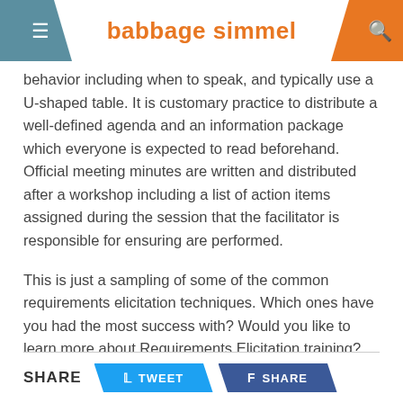babbage simmel
behavior including when to speak, and typically use a U-shaped table. It is customary practice to distribute a well-defined agenda and an information package which everyone is expected to read beforehand. Official meeting minutes are written and distributed after a workshop including a list of action items assigned during the session that the facilitator is responsible for ensuring are performed.
This is just a sampling of some of the common requirements elicitation techniques. Which ones have you had the most success with? Would you like to learn more about Requirements Elicitation training? Give us a call at 614-481-4345 or email info@babsim.com.
SHARE  TWEET  SHARE